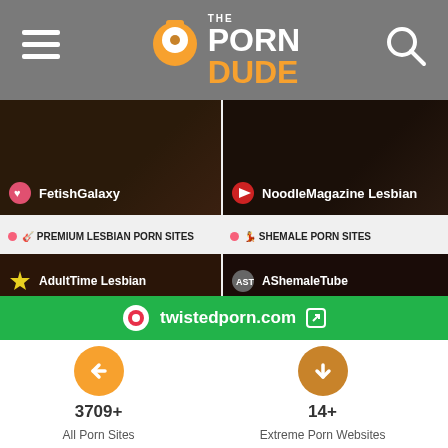The Porn Dude
[Figure (screenshot): FetishGalaxy thumbnail card with dark background]
[Figure (screenshot): NoodleMagazine Lesbian thumbnail card with dark background]
PREMIUM LESBIAN PORN SITES
SHEMALE PORN SITES
[Figure (screenshot): Premium Lesbian Porn Sites card listing: AdultTime Lesbian, GirlsWay, GirlGirl, Twistys, SLAYED]
[Figure (screenshot): Shemale Porn Sites card listing: AShemaleTube, TrannyTube, TrannyVideosXXX, ShemaleLeaks, PornHub Shemale]
twistedporn.com
3709+
All Porn Sites
14+
Extreme Porn Websites